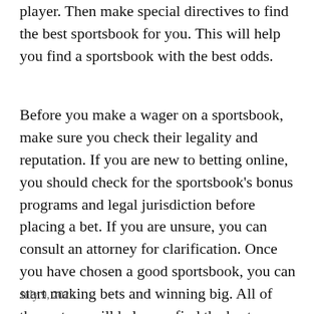player. Then make special directives to find the best sportsbook for you. This will help you find a sportsbook with the best odds.
Before you make a wager on a sportsbook, make sure you check their legality and reputation. If you are new to betting online, you should check for the sportsbook’s bonus programs and legal jurisdiction before placing a bet. If you are unsure, you can consult an attorney for clarification. Once you have chosen a good sportsbook, you can start making bets and winning big. All of these steps will help you find the best sportsbook for your betting needs and keep you safe online.
July 9, 2022